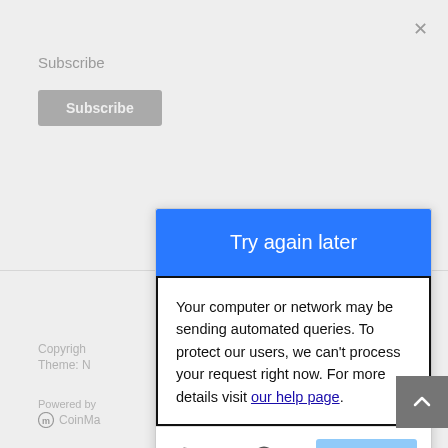×
Subscribe
Subscribe
[Figure (screenshot): A CAPTCHA modal dialog with 'Try again later' blue header, error message about automated queries, and a VERIFY button with icons.]
Try again later
Your computer or network may be sending automated queries. To protect our users, we can't process your request right now. For more details visit our help page.
VERIFY
Copyright
Theme: N
Powered by
CoinMa